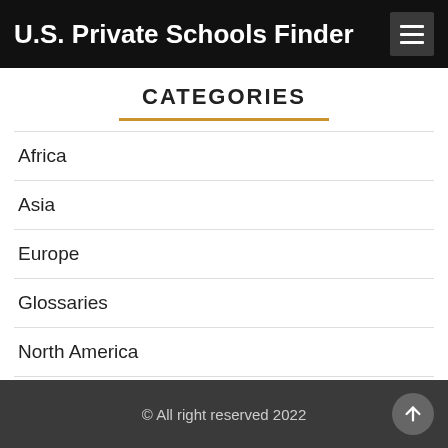U.S. Private Schools Finder
CATEGORIES
Africa
Asia
Europe
Glossaries
North America
Oceania
South America
© All right reserved 2022